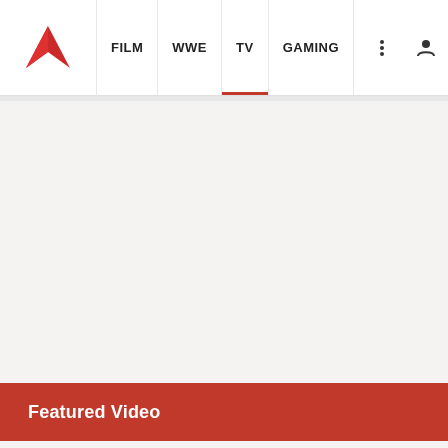FILM | WWE | TV | GAMING
[Figure (other): Large light gray video content area placeholder]
Featured Video